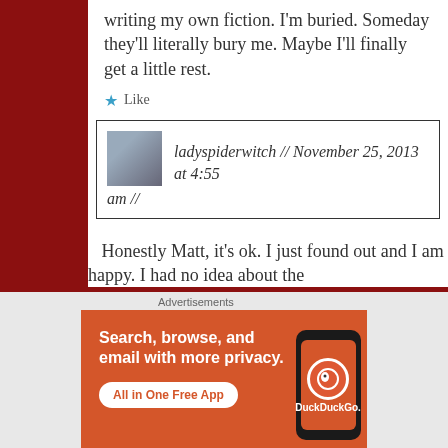writing my own fiction. I'm buried. Someday they'll literally bury me. Maybe I'll finally get a little rest.
Like
ladyspiderwitch // November 25, 2013 at 4:55 am //
Honestly Matt, it's ok. I just found out and I am happy. I had no idea about the
[Figure (screenshot): DuckDuckGo advertisement banner: 'Search, browse, and email with more privacy. All in One Free App' with DuckDuckGo logo and phone image]
Advertisements